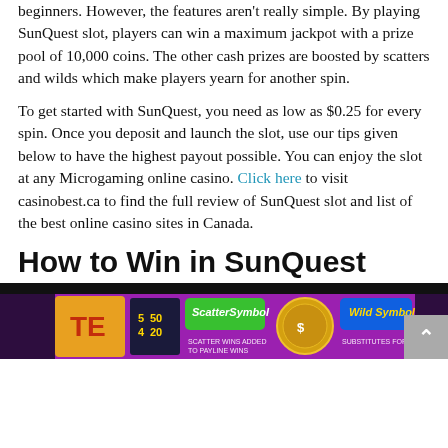beginners. However, the features aren't really simple. By playing SunQuest slot, players can win a maximum jackpot with a prize pool of 10,000 coins. The other cash prizes are boosted by scatters and wilds which make players yearn for another spin.
To get started with SunQuest, you need as low as $0.25 for every spin. Once you deposit and launch the slot, use our tips given below to have the highest payout possible. You can enjoy the slot at any Microgaming online casino. Click here to visit casinobest.ca to find the full review of SunQuest slot and list of the best online casino sites in Canada.
How to Win in SunQuest
[Figure (screenshot): Screenshot of the SunQuest slot machine game interface showing scatter symbol and wild symbol panels with colorful graphics on a purple background.]